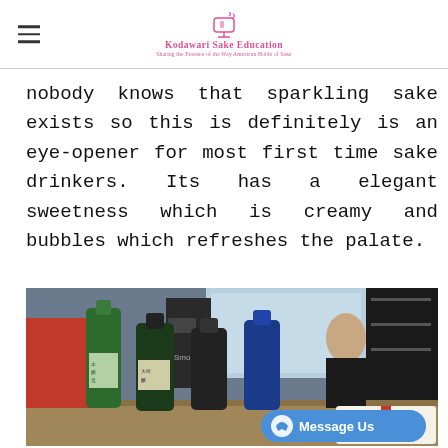Kodawari Sake Education
nobody knows that sparkling sake exists so this is definitely is an eye-opener for most first time sake drinkers. Its has a elegant sweetness which is creamy and bubbles which refreshes the palate.
[Figure (photo): Photo of several sake bottles (green, dark, blue) arranged on a bar counter with a bartender in the background and a 'Miss Smoke' sign visible. A Facebook Messenger 'Message Us' button overlay is visible in the lower right.]